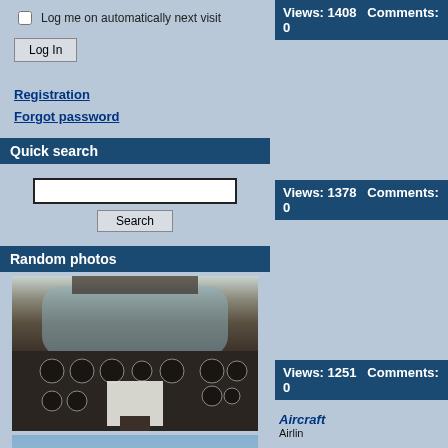Log me on automatically next visit
Log In
Registration
Forgot password
Quick search
Search
Random photos
[Figure (photo): Aircraft cockpit interior with instrument panels and windshield view]
[Figure (photo): Thomas Cook aircraft on airport tarmac]
Views: 1408   Comments: 0
Views: 1378   Comments: 0
Views: 1251   Comments: 0
Aircraft
Airline